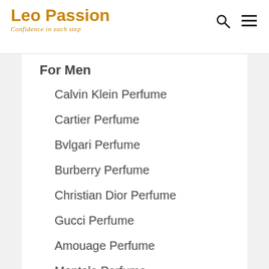Leo Passion — Confidence in each step
For Men
Calvin Klein Perfume
Cartier Perfume
Bvlgari Perfume
Burberry Perfume
Christian Dior Perfume
Gucci Perfume
Amouage Perfume
Montale Perfume